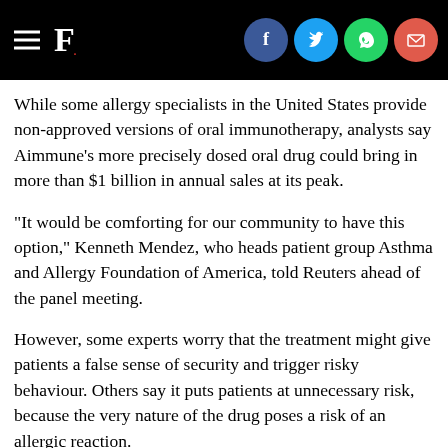F. [logo with social icons: Facebook, Twitter, WhatsApp, Email]
While some allergy specialists in the United States provide non-approved versions of oral immunotherapy, analysts say Aimmune's more precisely dosed oral drug could bring in more than $1 billion in annual sales at its peak.
"It would be comforting for our community to have this option," Kenneth Mendez, who heads patient group Asthma and Allergy Foundation of America, told Reuters ahead of the panel meeting.
However, some experts worry that the treatment might give patients a false sense of security and trigger risky behaviour. Others say it puts patients at unnecessary risk, because the very nature of the drug poses a risk of an allergic reaction.
Dr. Robert Wood, director of pediatric allergy and immunology at Johns Hopkins School of Medicine, says he believes the excitement will be tempered when patients realize what being on therapy involves.